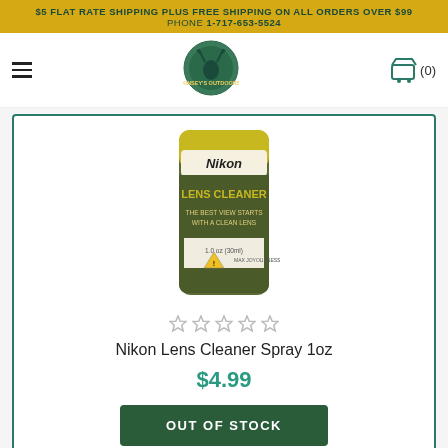$5 FLAT RATE SHIPPING PLUS FREE SHIPPING ON ALL ORDERS OVER $99
PHONE 1-717-653-5524
[Figure (logo): Kinsey's Outdoors logo - circular green logo with deer silhouette]
[Figure (photo): Nikon Lens Cleaner Spray 1oz product bottle - olive/dark green cylindrical bottle with yellow Nikon label reading LENS CLEANER, THE BEST VIEW STARTS WITH A CLEAN LENS, 1.0 oz (30ml)]
Nikon Lens Cleaner Spray 1oz
$4.99
OUT OF STOCK